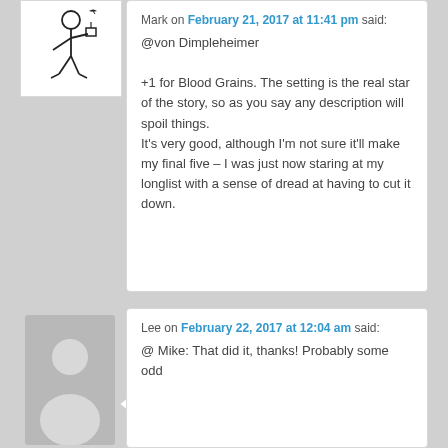[Figure (illustration): Stick figure avatar for Mark, black and white drawing of a person with a camera or similar object]
Mark on February 21, 2017 at 11:41 pm said:
@von Dimpleheimer

+1 for Blood Grains. The setting is the real star of the story, so as you say any description will spoil things.
It's very good, although I'm not sure it'll make my final five – I was just now staring at my longlist with a sense of dread at having to cut it down.
[Figure (illustration): Generic grey silhouette avatar icon for Lee, showing head and shoulders of a person]
Lee on February 22, 2017 at 12:04 am said:
@ Mike: That did it, thanks! Probably some odd